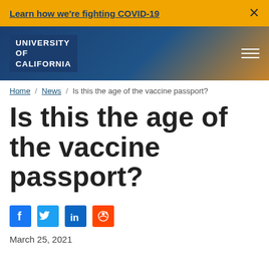Learn how we're fighting COVID-19
[Figure (logo): University of California logo/wordmark in blue header]
Home / News / Is this the age of the vaccine passport?
Is this the age of the vaccine passport?
[Figure (infographic): Social share icons: Facebook, Twitter, LinkedIn, Reddit]
March 25, 2021